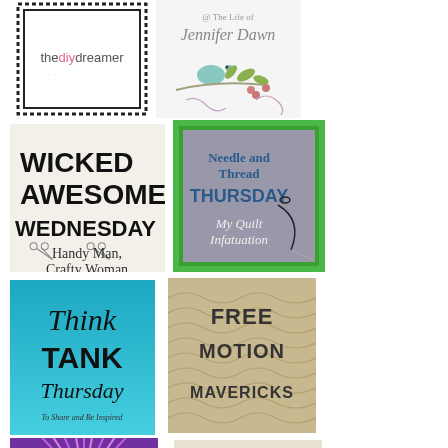[Figure (logo): thediydreamer logo - black stamp border on white background]
[Figure (logo): The Life of Jennifer Dawn blog badge with bird and floral illustration]
[Figure (logo): Wicked Awesome Wednesday - Handy Man Crafty Woman blog badge]
[Figure (logo): Needle and Thread Thursday My Quilt Infatuation blog badge]
[Figure (logo): Think Tank Thursday To Share and Be Inspired blog badge]
[Figure (logo): Free Motion Mavericks blog badge on quilted fabric texture]
[Figure (logo): Partial purple/pink radiating lines badge at bottom left]
[Figure (logo): Partial beige/cream badge at bottom right]